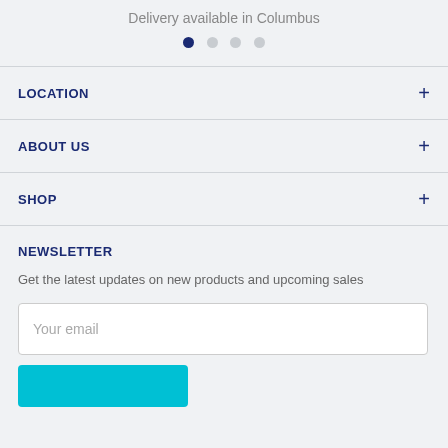Delivery available in Columbus
[Figure (other): Pagination dots: one filled dark blue dot followed by three lighter grey dots]
LOCATION
ABOUT US
SHOP
NEWSLETTER
Get the latest updates on new products and upcoming sales
Your email